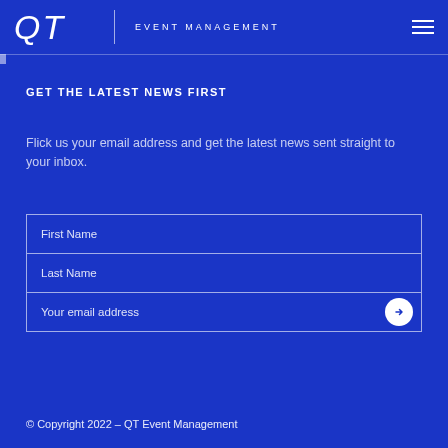QT EVENT MANAGEMENT
GET THE LATEST NEWS FIRST
Flick us your email address and get the latest news sent straight to your inbox.
First Name
Last Name
Your email address
© Copyright 2022 – QT Event Management